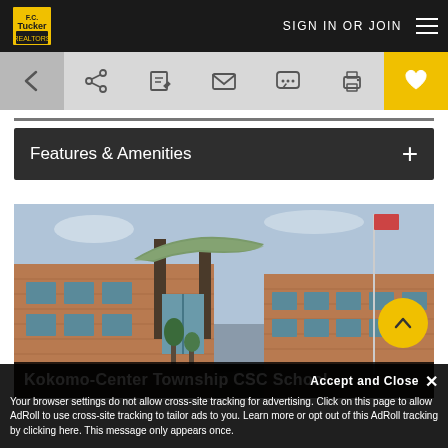F.C. Tucker - SIGN IN OR JOIN
[Figure (screenshot): Toolbar with back arrow, share, edit, email, comment, print, and favorite (heart) icons]
Features & Amenities +
[Figure (photo): Exterior photo of a modern brick school building with curved green canopy over entrance, trees, and flagpole. Building label: Kokomo-Center Township CSC School]
Kokomo-Center Township CSC School
Your browser settings do not allow cross-site tracking for advertising. Click on this page to allow AdRoll to use cross-site tracking to tailor ads to you. Learn more or opt out of this AdRoll tracking by clicking here. This message only appears once.